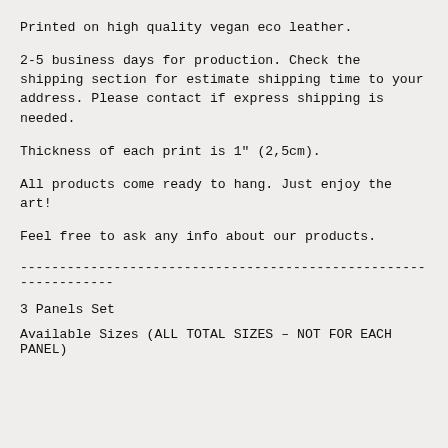Printed on high quality vegan eco leather.
2-5 business days for production. Check the shipping section for estimate shipping time to your address. Please contact if express shipping is needed.
Thickness of each print is 1" (2,5cm).
All products come ready to hang. Just enjoy the art!
Feel free to ask any info about our products.
----------------------------------------------------------------
3 Panels Set
Available Sizes (ALL TOTAL SIZES – NOT FOR EACH PANEL)